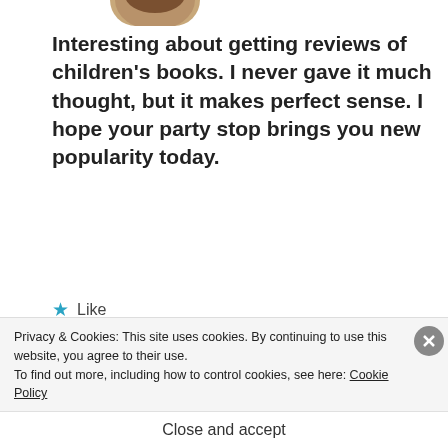[Figure (photo): Partial avatar/profile photo at top of page, cropped]
Interesting about getting reviews of children's books. I never gave it much thought, but it makes perfect sense. I hope your party stop brings you new popularity today.
★ Like
REPLY
[Figure (photo): Round profile photo of a woman with glasses and brown hair]
marethabotha2013
APRIL 22, 2017 AT 20:12
Privacy & Cookies: This site uses cookies. By continuing to use this website, you agree to their use.
To find out more, including how to control cookies, see here: Cookie Policy
Close and accept